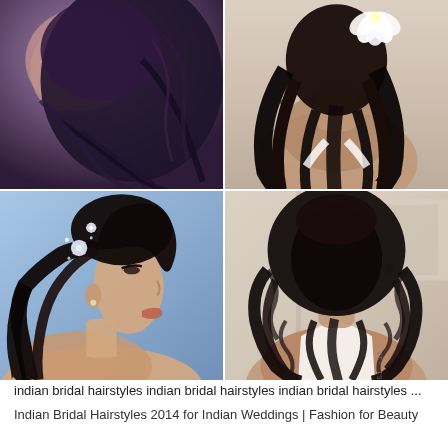[Figure (photo): 2x2 collage of Indian bridal hairstyles: top-left shows a close-up of a dark braided/twisted updo hairstyle; top-right shows the back of a woman with long black wavy hair and a white flower; bottom-left shows a woman in profile with dark hair half-up half-down style with decorative clips; bottom-right shows the back of a woman with a curly half-up half-down dark hairstyle.]
indian bridal hairstyles indian bridal hairstyles indian bridal hairstyles ...
Indian Bridal Hairstyles 2014 for Indian Weddings | Fashion for Beauty